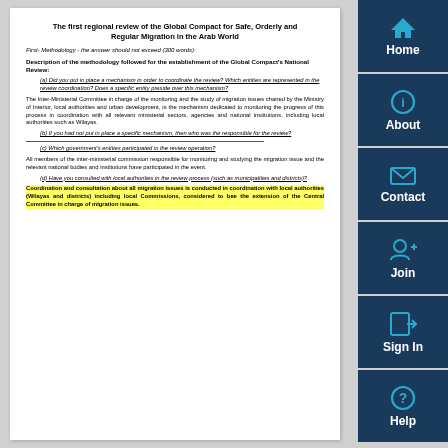The first regional review of the Global Compact for Safe, Orderly and Regular Migration in the Arab World
First- Methodology - the answer should not exceed (300 words):
Description of the methodology followed for the establishment of the Global Compact's National Review:
(a) Did you put in place a mechanism in order to coordinate the review? Which entities are represented in the review coordination? Does a specific entity preside over this mechanism?
The Inter-Ministerial Committee in charge of the monitoring and the study of migration issues chaired by the Ministry of Interior, local authorities and urban development, is the mechanism dedicated to monitoring the progress of this process in coordination with all relevant ministerial sectors, agencies and national institutions, including local authorities such as Wilayas.
(b) If you had not put in place a specific mechanism, then who was the responsible for the review?
(c) Which government's entities participated in the review operation?
All members of the inter-ministerial commission responsible for monitoring and studying the migration issue and the relevant national bodies and institutions have participated in the event.
(d) Have you consulted with local authorities in the review process (such as municipalities and districts)?
Coordination and consultation about all migration issues is conducted in coordination with local authorities (Wilayas and districts) including local Commissions, considered to bee the extension of the Central Committee in charge of migration issues.